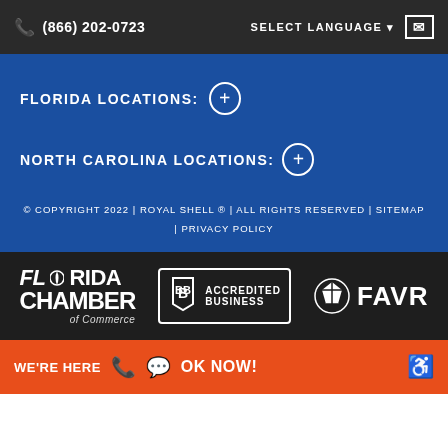(866) 202-0723 | SELECT LANGUAGE | [mail icon]
FLORIDA LOCATIONS: +
NORTH CAROLINA LOCATIONS: +
© COPYRIGHT 2022 | ROYAL SHELL ® | ALL RIGHTS RESERVED | SITEMAP
| PRIVACY POLICY
[Figure (logo): Florida Chamber of Commerce logo in white on dark background]
[Figure (logo): BBB Accredited Business logo in white on dark background with border]
[Figure (logo): FAVR logo with geometric icon in white on dark background]
WE'RE HERE [phone icon] [chat icon] OK NOW! [accessibility icon]